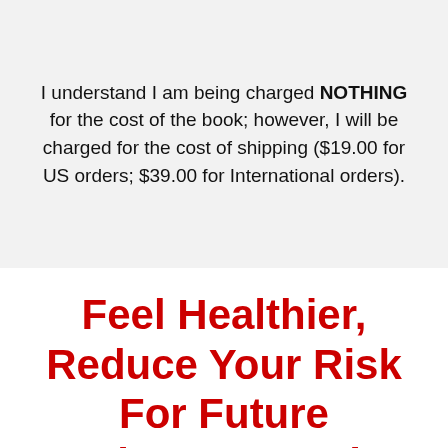I understand I am being charged NOTHING for the cost of the book; however, I will be charged for the cost of shipping ($19.00 for US orders; $39.00 for International orders).
Feel Healthier, Reduce Your Risk For Future Diseases And Lose Those Extra